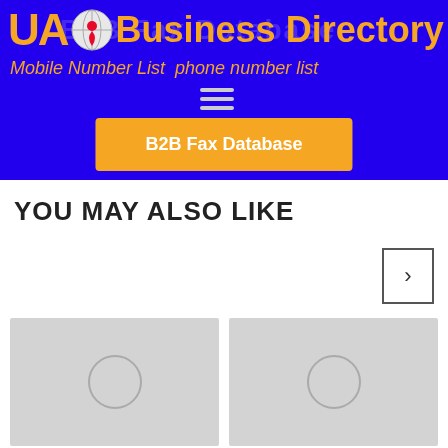[Figure (screenshot): Website header banner with blue background showing UAO Business Directory logo with orange text and globe icon, navigation taglines 'Mobile Number List' and 'phone number list', hamburger menu icon, and an orange 'B2B Fax Database' button]
YOU MAY ALSO LIKE
[Figure (other): Navigation next arrow button (right chevron) in a square border]
[Figure (other): Two gray placeholder image cards with circular placeholder icons side by side]